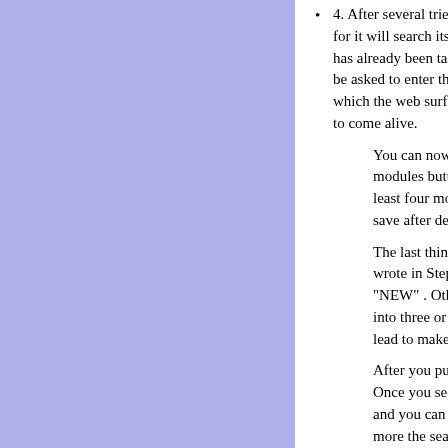4. After several tries, Squidoo will tell you for it will search its vault of millions and mi has already been taken. It is after your pa be asked to enter three keywords from yo which the web surfers will find you. Now it to come alive.
You can now see the basic lens structure. At this po modules button. Erase all except those marked. Bu least four modules to approve your lens. You can a save after deleting the modules you are not going t
The last thing to do is to copy and paste the informa wrote in Step 5. Change the title of the module bef "NEW" . Otherwise you will not get approved. It is a into three or four modules as this will receive a bett lead to make money online_11.
After you publish it, you can see the status of your l Once you see the green tick (when you have at leas and you can join the groups and vote for other lense more the search engines will find you.
It also makes sense if you make a few lenses to wri will hold together all the link details of your group. L at ezine directory. Thank goodness, that's done. Ne Don't you worry. There are only two more steps left.